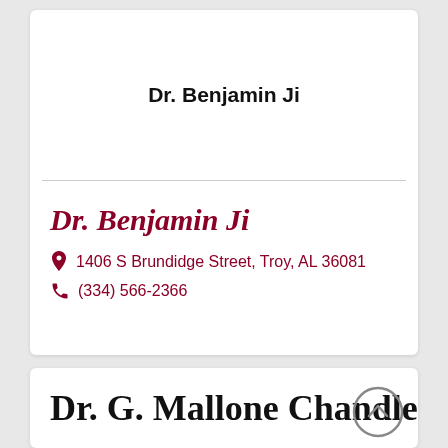Dr. Benjamin Ji
Dr. Benjamin Ji
1406 S Brundidge Street, Troy, AL 36081
(334) 566-2366
Dr. G. Mallone Chandler